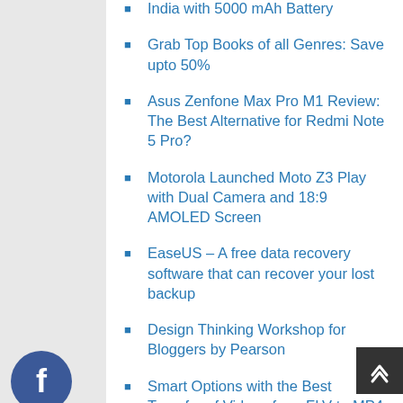India with 5000 mAh Battery
Grab Top Books of all Genres: Save upto 50%
Asus Zenfone Max Pro M1 Review: The Best Alternative for Redmi Note 5 Pro?
Motorola Launched Moto Z3 Play with Dual Camera and 18:9 AMOLED Screen
EaseUS – A free data recovery software that can recover your lost backup
Design Thinking Workshop for Bloggers by Pearson
Smart Options with the Best Transfer of Videos from FLV to MP4